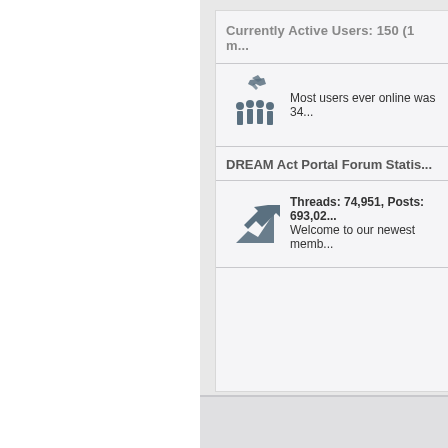Currently Active Users: 150 (1 m...
Most users ever online was 34...
DREAM Act Portal Forum Statis...
Threads: 74,951, Posts: 693,02... Welcome to our newest memb...